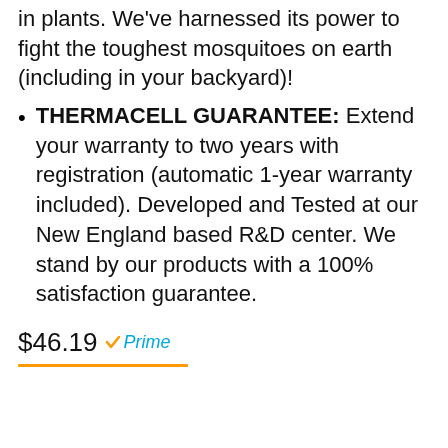in plants. We've harnessed its power to fight the toughest mosquitoes on earth (including in your backyard)!
THERMACELL GUARANTEE: Extend your warranty to two years with registration (automatic 1-year warranty included). Developed and Tested at our New England based R&D center. We stand by our products with a 100% satisfaction guarantee.
$46.19 Prime